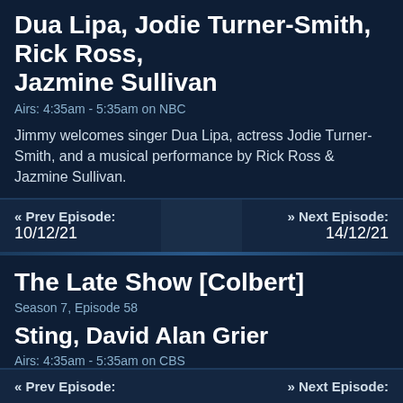Dua Lipa, Jodie Turner-Smith, Rick Ross, Jazmine Sullivan
Airs: 4:35am - 5:35am on NBC
Jimmy welcomes singer Dua Lipa, actress Jodie Turner-Smith, and a musical performance by Rick Ross & Jazmine Sullivan.
« Prev Episode: 10/12/21
» Next Episode: 14/12/21
The Late Show [Colbert]
Season 7, Episode 58
Sting, David Alan Grier
Airs: 4:35am - 5:35am on CBS
Stephen welcomes musician Sting and actor David Alan Grier.
« Prev Episode:
» Next Episode: